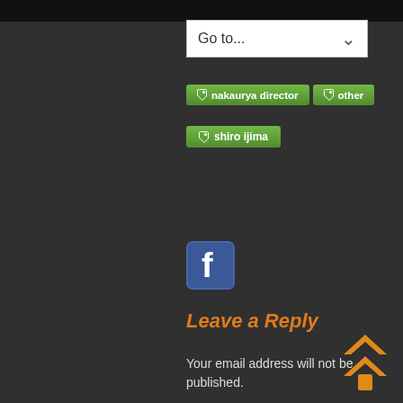[Figure (screenshot): Dropdown navigation bar with 'Go to...' text and chevron icon, white background]
nakaurya director
other
shiro ijima
[Figure (logo): Facebook social share icon button, blue rounded square with white 'f' letter]
Leave a Reply
Your email address will not be published.
[Figure (screenshot): White comment/reply text input area (textarea)]
[Figure (other): Orange double-chevron up arrow navigation button in bottom right corner]